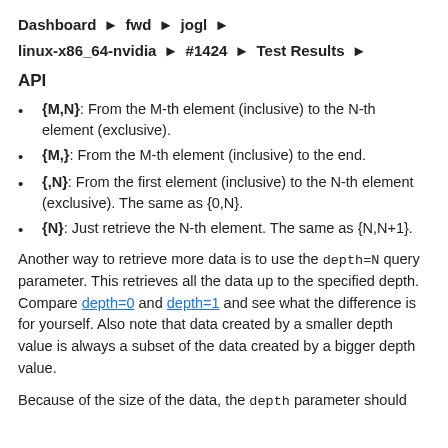Dashboard ▶ fwd ▶ jogl ▶
linux-x86_64-nvidia ▶ #1424 ▶ Test Results ▶
API
{M,N}: From the M-th element (inclusive) to the N-th element (exclusive).
{M,}: From the M-th element (inclusive) to the end.
{,N}: From the first element (inclusive) to the N-th element (exclusive). The same as {0,N}.
{N}: Just retrieve the N-th element. The same as {N,N+1}.
Another way to retrieve more data is to use the depth=N query parameter. This retrieves all the data up to the specified depth. Compare depth=0 and depth=1 and see what the difference is for yourself. Also note that data created by a smaller depth value is always a subset of the data created by a bigger depth value.
Because of the size of the data, the depth parameter should